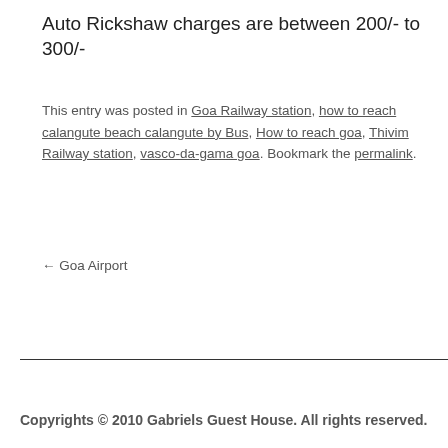Auto Rickshaw charges are between 200/- to 300/-
This entry was posted in Goa Railway station, how to reach calangute beach calangute by Bus, How to reach goa, Thivim Railway station, vasco-da-gama goa. Bookmark the permalink.
← Goa Airport
Copyrights © 2010 Gabriels Guest House. All rights reserved.